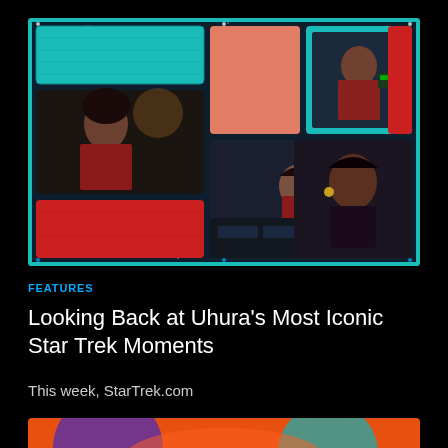[Figure (photo): Collage of Star Trek images featuring Uhura characters: Zoe Saldana in red Starfleet uniform (top left), animated Uhura at console (center bottom), classic Nichelle Nichols as Uhura (bottom right), another actress at communications console (top center), and decorative teal/red geometric Star Trek patterns.]
FEATURES
Looking Back at Uhura’s Most Iconic Star Trek Moments
This week, StarTrek.com
[Figure (photo): Partial view of a colorful cosmic or alien landscape image at the bottom of the page, showing orange, purple and teal colors.]